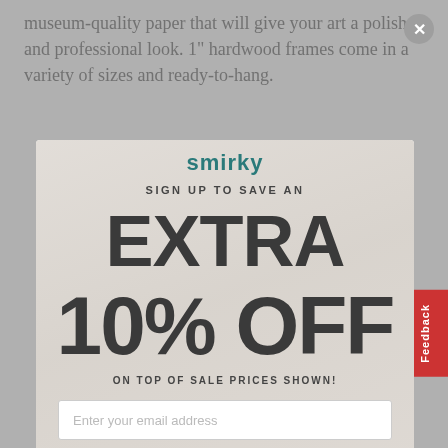museum-quality paper that will give your art a polished and professional look. 1" hardwood frames come in a variety of sizes and ready-to-hang.
smirky
SIGN UP TO SAVE AN
EXTRA 10% OFF
ON TOP OF SALE PRICES SHOWN!
Enter your email address
SIGN UP
Feedback